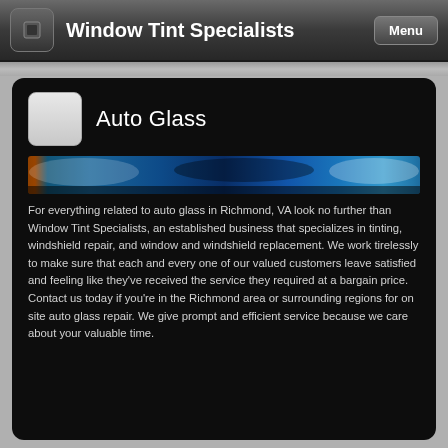Window Tint Specialists
Auto Glass
[Figure (photo): A strip photograph showing blue cars, likely showcasing auto glass/tinting work]
For everything related to auto glass in Richmond, VA look no further than Window Tint Specialists, an established business that specializes in tinting, windshield repair, and window and windshield replacement. We work tirelessly to make sure that each and every one of our valued customers leave satisfied and feeling like they've received the service they required at a bargain price. Contact us today if you're in the Richmond area or surrounding regions for on site auto glass repair. We give prompt and efficient service because we care about your valuable time.